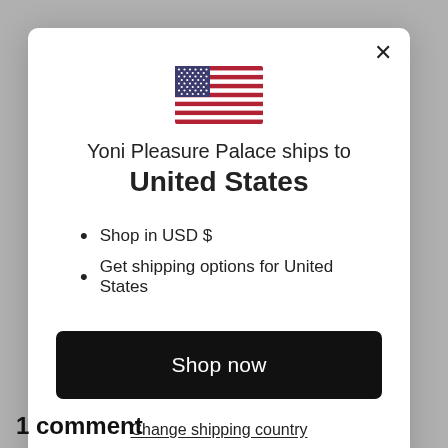[Figure (illustration): US flag emoji/icon centered in modal]
Yoni Pleasure Palace ships to United States
Shop in USD $
Get shipping options for United States
Shop now
Change shipping country
1 comment